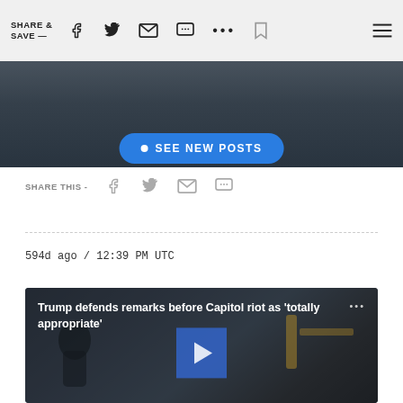SHARE & SAVE —
[Figure (photo): Partial photo of a person in a dark suit, cropped at top of page]
• SEE NEW POSTS
SHARE THIS -
594d ago / 12:39 PM UTC
[Figure (screenshot): Video thumbnail of Trump with title: Trump defends remarks before Capitol riot as 'totally appropriate']